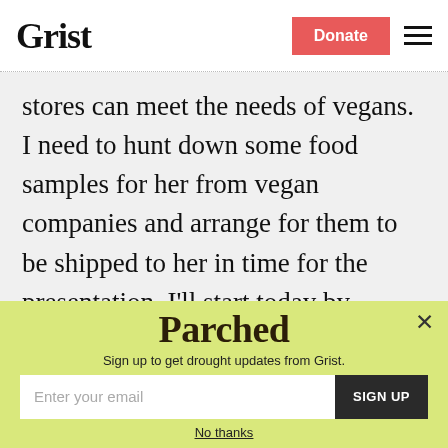Grist | Donate
stores can meet the needs of vegans. I need to hunt down some food samples for her from vegan companies and arrange for them to be shipped to her in time for the presentation. I'll start today by emailing companies to ask for the samples. Also today, I need to retrieve forms off the web
[Figure (screenshot): Parched newsletter signup popup overlay on yellow-green background. Title reads 'Parched' with decorative font. Subtitle: 'Sign up to get drought updates from Grist.' Email input field with 'Enter your email' placeholder and 'SIGN UP' dark button. 'No thanks' link at bottom. Close X button top right.]